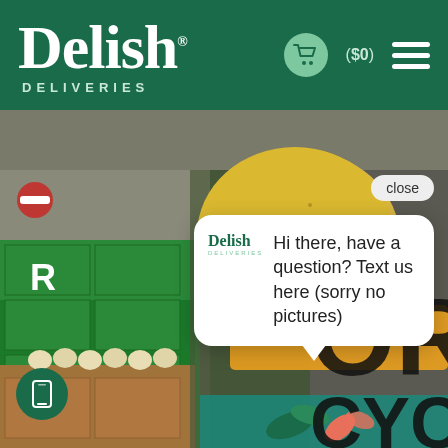[Figure (screenshot): Delish Deliveries website header with teal/green background showing the Delish logo, cart icon with ($0), and hamburger menu]
[Figure (photo): Background photo of a produce warehouse with green boxes labeled R, eggs, and workers. Overlaid with illustrated fruits/vegetables and teal design elements including 'OR' and 'CYC' text]
[Figure (screenshot): Chat popup widget with close button showing Delish logo and message: Hi there, have a question? Text us here (sorry no pictures)]
[Figure (screenshot): Phone/tablet icon button in bottom left corner on teal circle background]